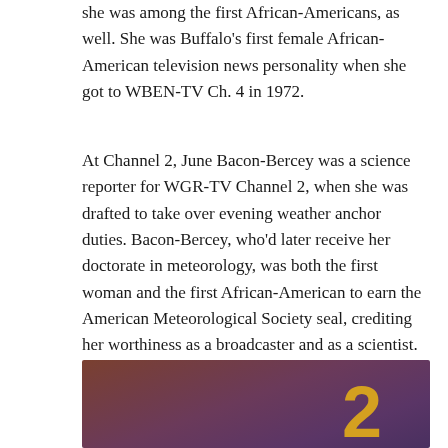she was among the first African-Americans, as well. She was Buffalo's first female African-American television news personality when she got to WBEN-TV Ch. 4 in 1972.
At Channel 2, June Bacon-Bercey was a science reporter for WGR-TV Channel 2, when she was drafted to take over evening weather anchor duties. Bacon-Bercey, who'd later receive her doctorate in meteorology, was both the first woman and the first African-American to earn the American Meteorological Society seal, crediting her worthiness as a broadcaster and as a scientist.
[Figure (photo): A dark-toned photograph showing a large golden number '2' on the right side against a dark purple/brown background, with partial WGR-TV text visible in the lower right, and a silhouette of a person's head visible at the bottom center.]